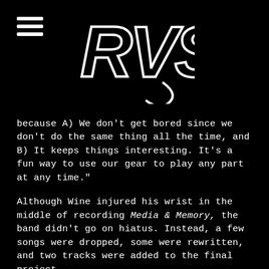[Figure (logo): RVS logo in white outline graffiti-style lettering on black background, with hamburger menu icon at top left]
because A) We don’t get bored since we don’t do the same thing all the time, and B) It keeps things interesting. It’s a fun way to use our gear to play any part at any time.”
Although Wine injured his wrist in the middle of recording Media & Memory, the band didn’t go on hiatus. Instead, a few songs were dropped, some were rewritten, and two tracks were added to the final project.
“That was dumb as hell,” Wine laughed. “But I was determined. I was like, ‘We’re gonna do this.’”
A tight record at nine tracks, Media & Memory still has room for a lot of experimentation — and even more character. With so many different ideas, the songs are a